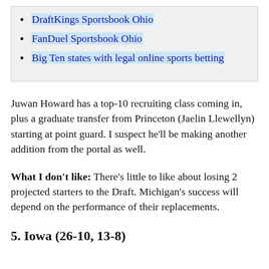DraftKings Sportsbook Ohio
FanDuel Sportsbook Ohio
Big Ten states with legal online sports betting
Juwan Howard has a top-10 recruiting class coming in, plus a graduate transfer from Princeton (Jaelin Llewellyn) starting at point guard. I suspect he'll be making another addition from the portal as well.
What I don't like: There's little to like about losing 2 projected starters to the Draft. Michigan's success will depend on the performance of their replacements.
5. Iowa (26-10, 13-8)